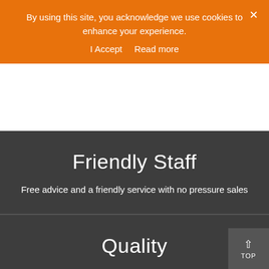By using this site, you acknowledge we use cookies to enhance your experience.
I Accept   Read more
Friendly Staff
Free advice and a friendly service with no pressure sales
Quality
All products manufactured to the highest possible quality